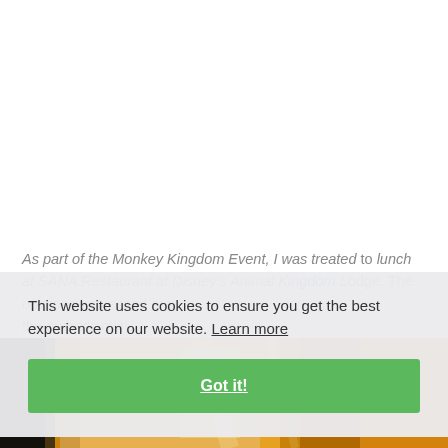As part of the Monkey Kingdom Event, I was treated to lunch at SANA Restaurant at Disney's Animal Kingdom Lodge. The opinions expressed are the author's own.
[Figure (photo): Bottom portion of a restaurant interior photo showing warm golden/amber lighting and table settings, partially cropped at bottom of page]
This website uses cookies to ensure you get the best experience on our website. Learn more